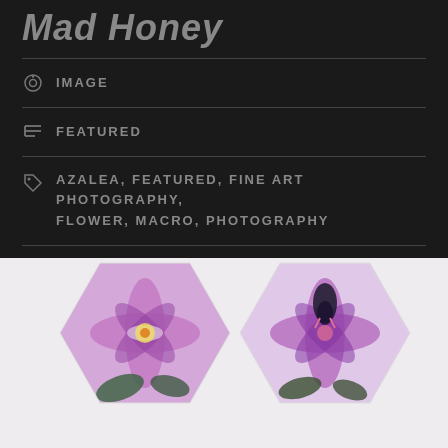Mad Honey
IMAGE
FEATURED
AZALEA, FEATURED, FINE ART PHOTOGRAPHY, FLOWER, MACRO, PHOTOGRAPHY
2 COMMENTS
[Figure (photo): Two hexagonal frames containing close-up macro photographs of purple azalea flowers with kaleidoscopic symmetry effect, set against a light gray background]